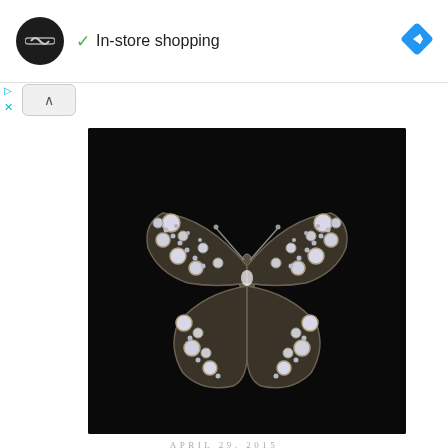In-store shopping
[Figure (photo): A diamond butterfly brooch set in silver/gold filigree against a black background, featuring numerous round brilliant-cut diamonds arranged in a detailed butterfly wing pattern with smaller pavé diamonds throughout.]
APRIL 29, 2015
2015 MELBOURNE ANTIQUES